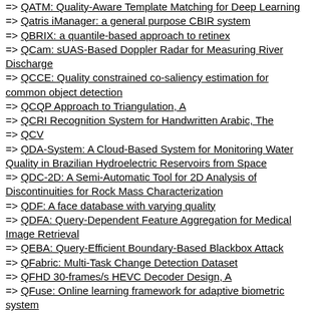=> QATM: Quality-Aware Template Matching for Deep Learning
=> Qatris iManager: a general purpose CBIR system
=> QBRIX: a quantile-based approach to retinex
=> QCam: sUAS-Based Doppler Radar for Measuring River Discharge
=> QCCE: Quality constrained co-saliency estimation for common object detection
=> QCQP Approach to Triangulation, A
=> QCRI Recognition System for Handwritten Arabic, The
=> QCV
=> QDA-System: A Cloud-Based System for Monitoring Water Quality in Brazilian Hydroelectric Reservoirs from Space
=> QDC-2D: A Semi-Automatic Tool for 2D Analysis of Discontinuities for Rock Mass Characterization
=> QDF: A face database with varying quality
=> QDFA: Query-Dependent Feature Aggregation for Medical Image Retrieval
=> QEBA: Query-Efficient Boundary-Based Blackbox Attack
=> QFabric: Multi-Task Change Detection Dataset
=> QFHD 30-frames/s HEVC Decoder Design, A
=> QFuse: Online learning framework for adaptive biometric system
=> QGIS Tool for Automatically Identifying Asbestos Roofing, A